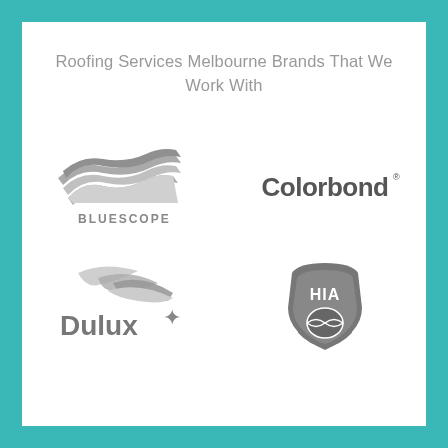Roofing Services Melbourne Brands That We Work With
[Figure (logo): BlueScope logo - wavy steel sheet graphic in grey with text BLUESCOPE below]
[Figure (logo): Colorbond logo - grey wordmark text reading Colorbond with registered trademark symbol]
[Figure (logo): Dulux logo - grey wordmark with feather/wave swoosh graphic above]
[Figure (logo): HIA logo - grey shield/hand icon with HIA text inside]